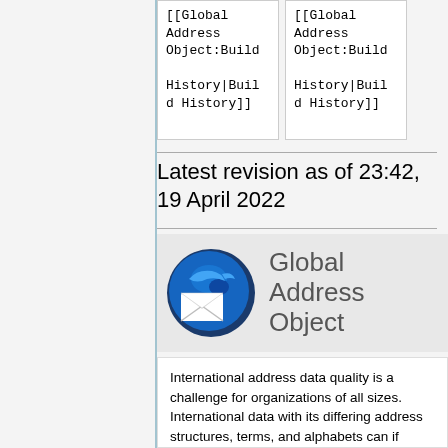| [[Global Address Object:Build History|Build History]] | [[Global Address Object:Build History|Build History]] |
Latest revision as of 23:42, 19 April 2022
[Figure (logo): Globe with envelope icon — Global Address Object logo]
Global Address Object
International address data quality is a challenge for organizations of all sizes. International data with its differing address structures, terms, and alphabets can if handled poorly have a substantial negative impact on your data driven